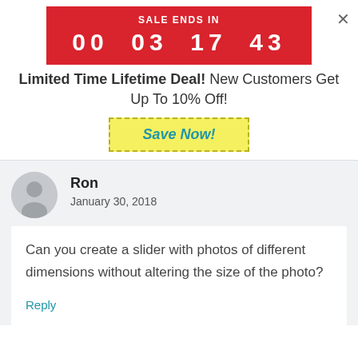[Figure (infographic): Red countdown timer banner showing SALE ENDS IN 00 03 17 43 with a close (×) button]
Limited Time Lifetime Deal! New Customers Get Up To 10% Off!
[Figure (infographic): Yellow dashed-border button with teal italic text reading Save Now!]
[Figure (infographic): Gray circular user avatar icon]
Ron
January 30, 2018
Can you create a slider with photos of different dimensions without altering the size of the photo?
Reply